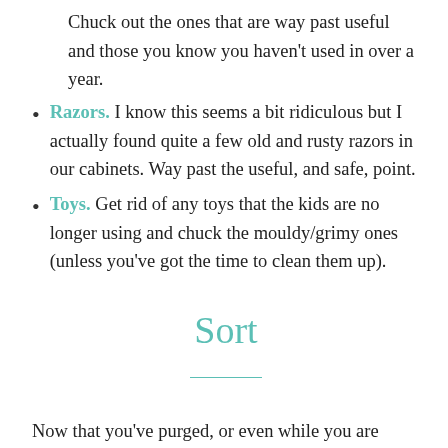Chuck out the ones that are way past useful and those you know you haven't used in over a year.
Razors. I know this seems a bit ridiculous but I actually found quite a few old and rusty razors in our cabinets. Way past the useful, and safe, point.
Toys. Get rid of any toys that the kids are no longer using and chuck the mouldy/grimy ones (unless you've got the time to clean them up).
Sort
Now that you've purged, or even while you are purging, sort out the items that you are keeping into categories